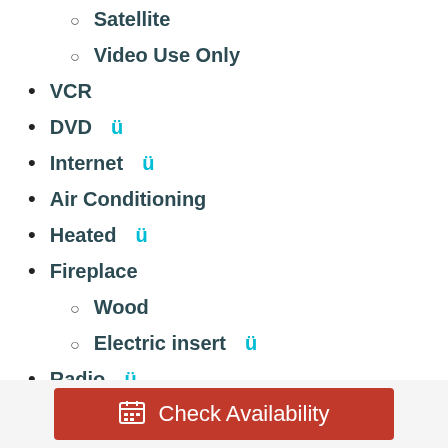Satellite
Video Use Only
VCR
DVD ü
Internet ü
Air Conditioning
Heated ü
Fireplace
Wood
Electric insert ü
Radio ü
Blankets ü
Check Availability